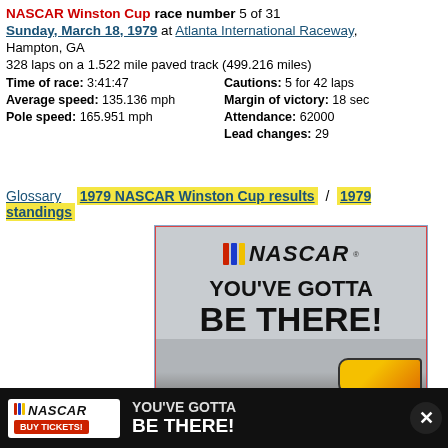NASCAR Winston Cup race number 5 of 31
Sunday, March 18, 1979 at Atlanta International Raceway, Hampton, GA
328 laps on a 1.522 mile paved track (499.216 miles)
Time of race: 3:41:47 | Cautions: 5 for 42 laps | Average speed: 135.136 mph | Margin of victory: 18 sec | Pole speed: 165.951 mph | Attendance: 62000 | Lead changes: 29
Glossary  1979 NASCAR Winston Cup results / 1979 standings
[Figure (photo): NASCAR advertisement showing 'YOU'VE GOTTA BE THERE!' with NASCAR logo and race car]
[Figure (photo): NASCAR bottom banner ad with BUY TICKETS and 'YOU'VE GOTTA BE THERE!']